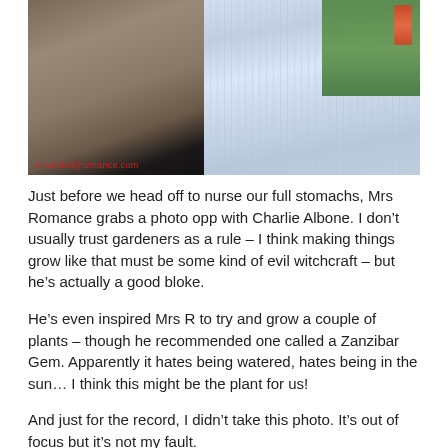[Figure (photo): Photo of two people standing side by side outdoors, cropped to show torsos. Woman on left wearing patterned top, man on right wearing light blue striped shirt. Watermark reads 'mrandardyromance.com' in red at bottom left.]
Just before we head off to nurse our full stomachs, Mrs Romance grabs a photo opp with Charlie Albone. I don't usually trust gardeners as a rule – I think making things grow like that must be some kind of evil witchcraft – but he's actually a good bloke.
He's even inspired Mrs R to try and grow a couple of plants – though he recommended one called a Zanzibar Gem. Apparently it hates being watered, hates being in the sun… I think this might be the plant for us!
And just for the record, I didn't take this photo. It's out of focus but it's not my fault.
We hope you've enjoyed this week's IG Edition. If you like any part of it especially, feel welcome to tell us! We love hearing your thoughts!